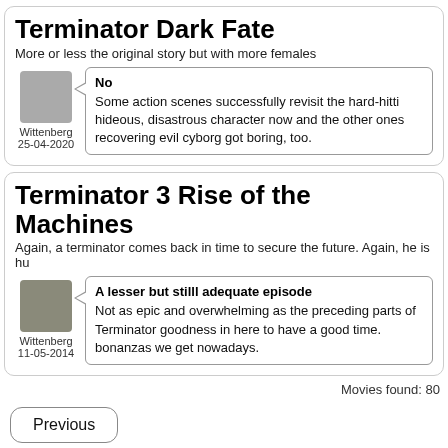Terminator Dark Fate
More or less the original story but with more females
No
Some action scenes successfully revisit the hard-hitti hideous, disastrous character now and the other ones recovering evil cyborg got boring, too.
Wittenberg
25-04-2020
Terminator 3 Rise of the Machines
Again, a terminator comes back in time to secure the future. Again, he is hu
A lesser but stilll adequate episode
Not as epic and overwhelming as the preceding parts of Terminator goodness in here to have a good time. bonanzas we get nowadays.
Wittenberg
11-05-2014
Movies found: 80
Previous